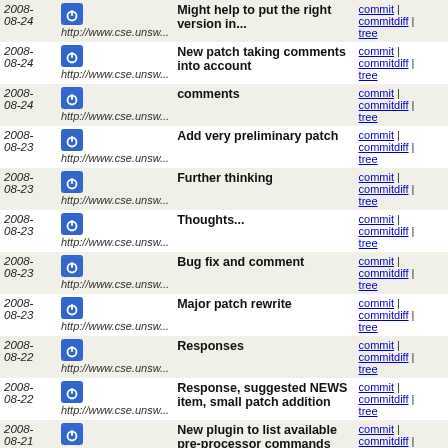| Date | Author/URL | Message | Links |
| --- | --- | --- | --- |
| 2008-08-24 | http://www.cse.unsw... | Might help to put the right version in... | commit | commitdiff | tree |
| 2008-08-24 | http://www.cse.unsw... | New patch taking comments into account | commit | commitdiff | tree |
| 2008-08-24 | http://www.cse.unsw... | comments | commit | commitdiff | tree |
| 2008-08-23 | http://www.cse.unsw... | Add very preliminary patch | commit | commitdiff | tree |
| 2008-08-23 | http://www.cse.unsw... | Further thinking | commit | commitdiff | tree |
| 2008-08-23 | http://www.cse.unsw... | Thoughts... | commit | commitdiff | tree |
| 2008-08-23 | http://www.cse.unsw... | Bug fix and comment | commit | commitdiff | tree |
| 2008-08-23 | http://www.cse.unsw... | Major patch rewrite | commit | commitdiff | tree |
| 2008-08-22 | http://www.cse.unsw... | Responses | commit | commitdiff | tree |
| 2008-08-22 | http://www.cse.unsw... | Response, suggested NEWS item, small patch addition | commit | commitdiff | tree |
| 2008-08-21 | http://www.cse.unsw... | New plugin to list available pre-processor commands | commit | commitdiff | tree |
| 2008-08-19 | http://www.cse.unsw... | Small tweak to patch | commit | commitdiff | tree |